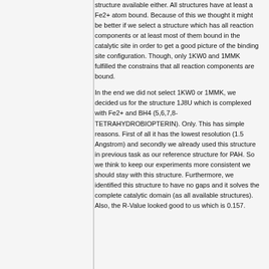structure available either. All structures have at least a Fe2+ atom bound. Because of this we thought it might be better if we select a structure which has all reaction components or at least most of them bound in the catalytic site in order to get a good picture of the binding site configuration. Though, only 1KW0 and 1MMK fulfilled the constrains that all reaction components are bound.
In the end we did not select 1KW0 or 1MMK, we decided us for the structure 1J8U which is complexed with Fe2+ and BH4 (5,6,7,8-TETRAHYDROBIOPTERIN). Only. This has simple reasons. First of all it has the lowest resolution (1.5 Angstrom) and secondly we already used this structure in previous task as our reference structure for PAH. So we think to keep our experiments more consistent we should stay with this structure. Furthermore, we identified this structure to have no gaps and it solves the complete catalytic domain (as all available structures). Also, the R-Value looked good to us which is 0.157.